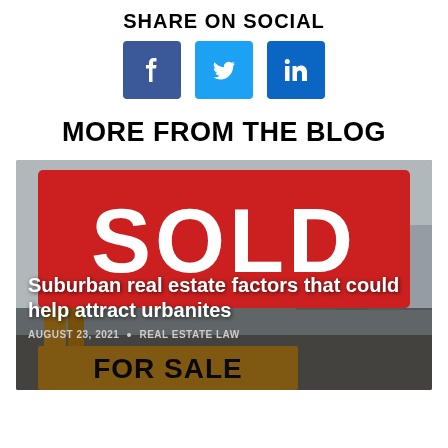SHARE ON SOCIAL
[Figure (other): Three social media share buttons: Facebook (blue), Twitter (light blue), LinkedIn (dark blue)]
MORE FROM THE BLOG
[Figure (photo): Photo of a real estate SOLD sign in red with white text mounted above a yellow FOR SALE sign, suburban background]
Suburban real estate factors that could help attract urbanites
AUGUST 23, 2021   REAL ESTATE LAW